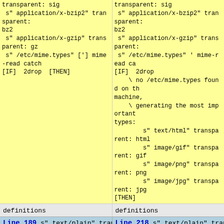transparent: sig
 s" application/x-bzip2" transparent:
bz2
 s" application/x-gzip" transparent: gz
 s" /etc/mime.types" ['] mime-read catch
[IF]  2drop  [THEN]
transparent: sig
 s" application/x-bzip2" transparent:
bz2
 s" application/x-gzip" transparent:
 s" /etc/mime.types" ' mime-read ca
[IF]  2drop
    \ no /etc/mime.types found on th
machine,
    \ generating the most important
types:
        s" text/html" transparent: html
        s" image/gif" transparent: gif
        s" image/png" transparent: png
        s" image/jpg" transparent: jpg
[THEN]
definitions
definitions
Line 189  s" text/plain" transparent: txt
Line 218  s" text/plain" transparent
\ http errors
26mar00py
\ http errors
26mar00py
: .server ( -- )  ." Server: Gforth
httpd/0.1 ("
    s" os-class" environment? IF  type
THEN  .") " cr ;
: .ok  ( -- ) ." HTTP/1.1 200 OK" cr
server ;
: .server ( -- )  ." Server: Gforth
httpd/1.0 ("
    s" os-class" environment? IF  ty
THEN  .") " cr ;
: .ok  ( -- ) ." HTTP/1.1 200 OK" cr
server ;